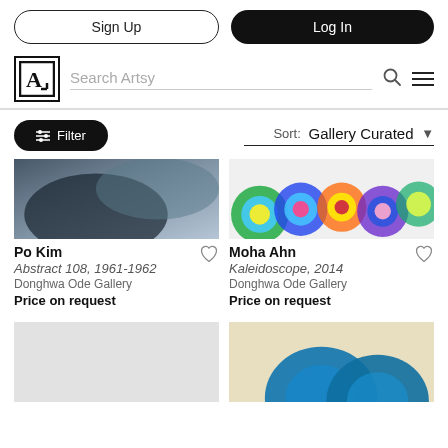Sign Up | Log In
[Figure (screenshot): Artsy logo with letter A in a square border, followed by Search Artsy input, search icon, and hamburger menu]
Filter | Sort: Gallery Curated
[Figure (photo): Black and white abstract painting artwork]
Po Kim
Abstract 108, 1961-1962
Donghwa Ode Gallery
Price on request
[Figure (photo): Colorful kaleidoscope artwork with circular patterns in blue, green, red on white background]
Moha Ahn
Kaleidoscope, 2014
Donghwa Ode Gallery
Price on request
[Figure (photo): Light gray placeholder image for artwork]
[Figure (photo): Blue metallic circular sculpture on yellow/cream background]